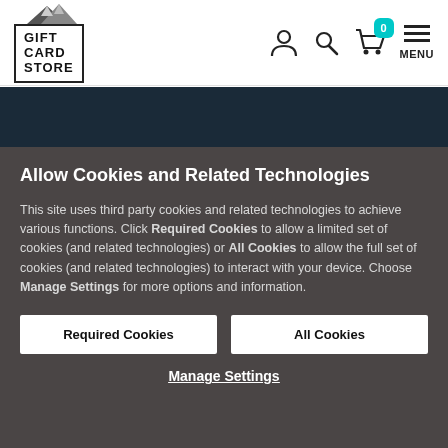[Figure (logo): Gift Card Store logo with mountain icons above a bordered box containing the text GIFT CARD STORE]
[Figure (infographic): Navigation icons: user/person icon, search/magnifying glass icon, shopping basket with cyan badge showing 0, and hamburger menu with MENU label]
Allow Cookies and Related Technologies
This site uses third party cookies and related technologies to achieve various functions. Click Required Cookies to allow a limited set of cookies (and related technologies) or All Cookies to allow the full set of cookies (and related technologies) to interact with your device. Choose Manage Settings for more options and information.
Required Cookies
All Cookies
Manage Settings